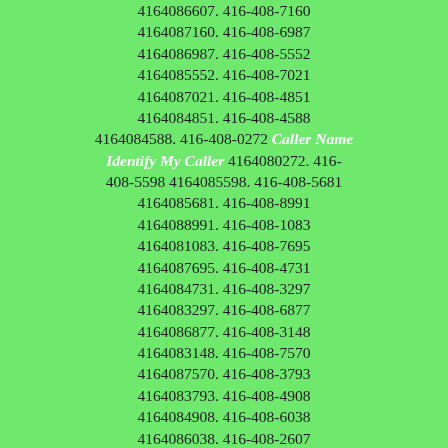4164086607. 416-408-7160 4164087160. 416-408-6987 4164086987. 416-408-5552 4164085552. 416-408-7021 4164087021. 416-408-4851 4164084851. 416-408-4588 4164084588. 416-408-0272 Caller Name Identify My Caller 4164080272. 416-408-5598 4164085598. 416-408-5681 4164085681. 416-408-8991 4164088991. 416-408-1083 4164081083. 416-408-7695 4164087695. 416-408-4731 4164084731. 416-408-3297 4164083297. 416-408-6877 4164086877. 416-408-3148 4164083148. 416-408-7570 4164087570. 416-408-3793 4164083793. 416-408-4908 4164084908. 416-408-6038 4164086038. 416-408-2607 4164082607. 416-408-0829 Caller Name Identify My Caller 4164080829. 416-408-2760 4164082760. 416-408-8051 4164088051. 416-408-8672